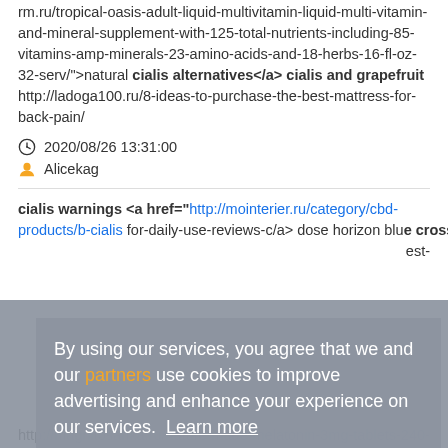rm.ru/tropical-oasis-adult-liquid-multivitamin-liquid-multi-vitamin-and-mineral-supplement-with-125-total-nutrients-including-85-vitamins-amp-minerals-23-amino-acids-and-18-herbs-16-fl-oz-32-serv/">natural cialis alternatives</a> cialis and grapefruit http://ladoga100.ru/8-ideas-to-purchase-the-best-mattress-for-back-pain/
2020/08/26 13:31:00
Alicekag
cialis warnings <a href="http://mointerier.ru/category/cbd-products/b-cialis-for-daily-use-reviews-c/a> dose horizon blue cross best-
By using our services, you agree that we and our partners use cookies to improve advertising and enhance your experience on our services. Learn more
OK
http://magnitosanka.ru/nature-made-melatonin-3mg-tablets-240-